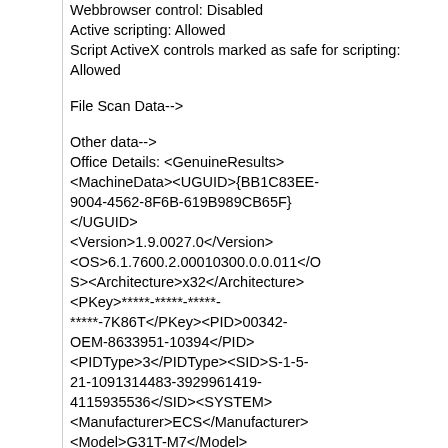Webbrowser control: Disabled
Active scripting: Allowed
Script ActiveX controls marked as safe for scripting: Allowed
File Scan Data-->
Other data-->
Office Details: <GenuineResults><MachineData><UGUID>{BB1C83EE-9004-4562-8F6B-619B989CB65F}</UGUID><Version>1.9.0027.0</Version><OS>6.1.7600.2.00010300.0.0.011</OS><Architecture>x32</Architecture><PKey>*****-*****-*****-*****-7K86T</PKey><PID>00342-OEM-8633951-10394</PID><PIDType>3</PIDType><SID>S-1-5-21-1091314483-3929961419-4115935536</SID><SYSTEM><Manufacturer>ECS</Manufacturer><Model>G31T-M7</Model></SYSTEM><BIOS><Manufacturer>American Megatrends Inc.</Manufacturer><Version>080014</Version><SMBIOSVersion major="2" minor="5"/><Date>20100301000000.000000+000